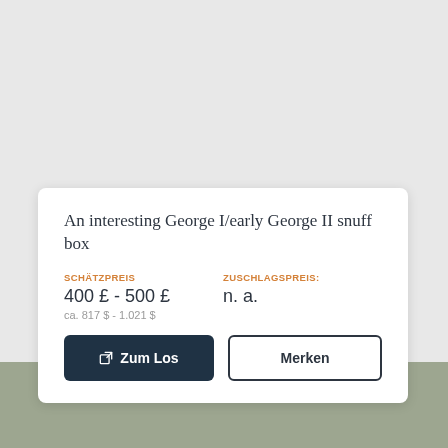An interesting George I/early George II snuff box
SCHÄTZPREIS
400 £ - 500 £
ca. 817 $ - 1.021 $
ZUSCHLAGSPREIS:
n. a.
Zum Los
Merken